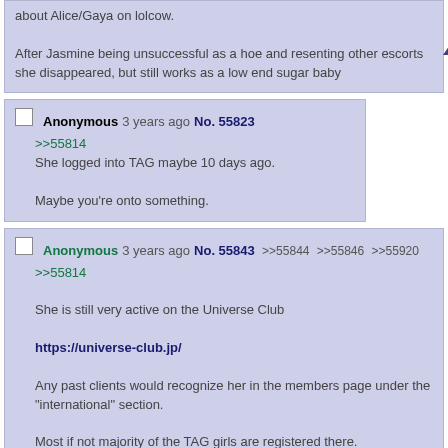about Alice/Gaya on lolcow.

After Jasmine being unsuccessful as a hoe and resenting other escorts she disappeared, but still works as a low end sugar baby
Anonymous 3 years ago No. 55823
>>55814
She logged into TAG maybe 10 days ago.

Maybe you're onto something.
Anonymous 3 years ago No. 55843 >>55844 >>55846 >>55920
>>55814

She is still very active on the Universe Club

https://universe-club.jp/

Any past clients would recognize her in the members page under the "international" section.

Most if not majority of the TAG girls are registered there.
Anonymous 3 years ago No. 55844
>>55843
I thought she already left Japan long ago. Didn't she go to France?